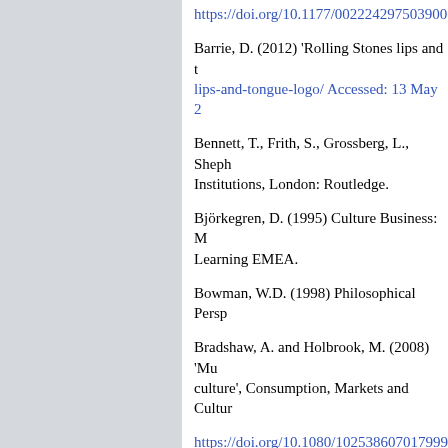https://doi.org/10.1177/002224297503900...
Barrie, D. (2012) 'Rolling Stones lips and t... lips-and-tongue-logo/ Accessed: 13 May 2...
Bennett, T., Frith, S., Grossberg, L., Sheph... Institutions, London: Routledge.
Björkegren, D. (1995) Culture Business: M... Learning EMEA.
Bowman, W.D. (1998) Philosophical Persp...
Bradshaw, A. and Holbrook, M. (2008) 'Mu... culture', Consumption, Markets and Cultur...
https://doi.org/10.1080/102538607017999...
Bradshaw, A., McDonagh, P. and Marshall,... Consumption, Markets and Culture, 9 (2), ...
https://doi.org/10.1080/102538606000633...
Brierley, C., McSweeney, F.K. and Vannieu... Consumer Research, 12 (December), 316-...
https://doi.org/10.1086/208518
Bruner II, G.C. (1990) 'Music, Mood, and M...
https://doi.org/10.1177/002224299005400...